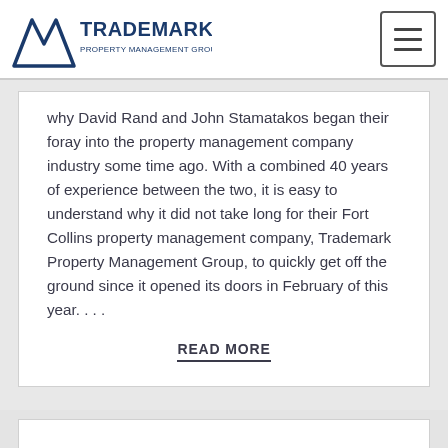TRADEMARK PROPERTY MANAGEMENT GROUP, INC.
why David Rand and John Stamatakos began their foray into the property management company industry some time ago. With a combined 40 years of experience between the two, it is easy to understand why it did not take long for their Fort Collins property management company, Trademark Property Management Group, to quickly get off the ground since it opened its doors in February of this year. . . .
READ MORE